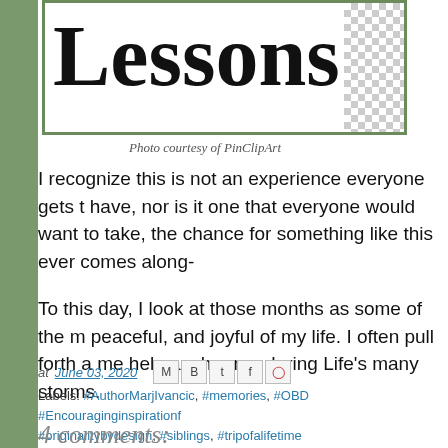[Figure (illustration): Partial blog header image showing the word 'Lessons' in large bold serif font inside a green-bordered box with a checkerboard pattern background on the right side]
Photo courtesy of PinClipArt
I recognize this is not an experience everyone gets to have, nor is it one that everyone would want to take, the chance for something like this ever comes along-
To this day, I look at those months as some of the mo peaceful, and joyful of my life. I often pull forth a mem help anchor me during Life's many storms.
at June 03, 2020
Labels: #AuthorMarjIvancic, #memories, #OBD #Encouraginginspirationf #originalitybydesign, #siblings, #tripofalifetime
4 comments: